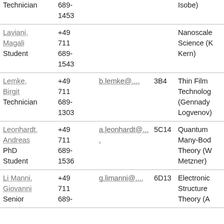| Name/Role | Phone | Email | Room | Department/Group |
| --- | --- | --- | --- | --- |
| Technician | 689-
1453 |  |  | Isobe) |
| Laviani,
Magali
Student | +49
711
689-
1543 |  |  | Nanoscale
Science (K
Kern) |
| Lemke,
Birgit
Technician | +49
711
689-
1303 | b.lemke@.... | 3B4 | Thin Film
Technolog
(Gennady
Logvenov) |
| Leonhardt,
Andreas
PhD
Student | +49
711
689-
1536 | a.leonhardt@.... | 5C14 | Quantum
Many-Bod
Theory (W
Metzner) |
| Li Manni,
Giovanni
Senior | +49
711
689- | g.limanni@.... | 6D13 | Electronic
Structure
Theory (A |